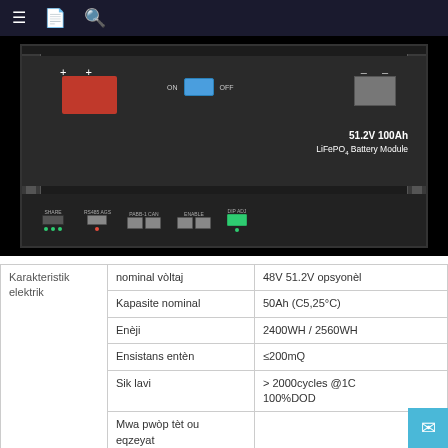[Figure (photo): 51.2V 100Ah LiFePO4 Battery Module showing front panel with positive terminals (red), ON/OFF toggle switch, negative terminal, and bottom port row with RJ45 connectors and LED indicators]
| Category | Parameter | Value |
| --- | --- | --- |
| Karakteristik elektrik | nominal vòltaj | 48V 51.2V opsyonèl |
| Karakteristik elektrik | Kapasite nominal | 50Ah (C5,25°C) |
| Karakteristik elektrik | Enèji | 2400WH / 2560WH |
| Karakteristik elektrik | Ensistans entèn | ≤200mQ |
| Karakteristik elektrik | Sik lavi | > 2000cycles @1C 100%DOD |
| Karakteristik elektrik | Mwa pwòp tèt ou eqzeyat |  |